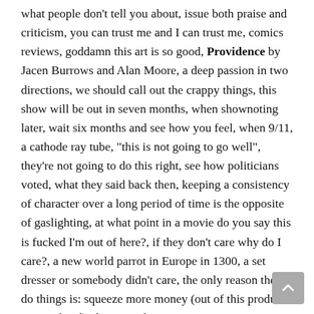what people don't tell you about, issue both praise and criticism, you can trust me and I can trust me, comics reviews, goddamn this art is so good, Providence by Jacen Burrows and Alan Moore, a deep passion in two directions, we should call out the crappy things, this show will be out in seven months, when shownoting later, wait six months and see how you feel, when 9/11, a cathode ray tube, "this is not going to go well", they're not going to do this right, see how politicians voted, what they said back then, keeping a consistency of character over a long period of time is the opposite of gaslighting, at what point in a movie do you say this is fucked I'm out of here?, if they don't care why do I care?, a new world parrot in Europe in 1300, a set dresser or somebody didn't care, the only reason they do things is: squeeze more money (out of this product in your head), things are becoming more generic, 5 Spider-Man reboots, way more weird movies, an independent weird fiction movie The Endless (2017), shitty capitalist jobs